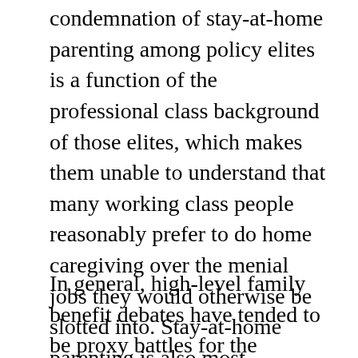condemnation of stay-at-home parenting among policy elites is a function of the professional class background of those elites, which makes them unable to understand that many working class people reasonably prefer to do home caregiving over the menial jobs they would otherwise be slotted into. Stay-at-home parenting is also most prevalent among Latinas, which has led some to say a refusal to support it is a racist outgrowth of the white-centric policy establishment.
In general, high-level family benefit debates have tended to be proxy battles for the different family structure preferences of